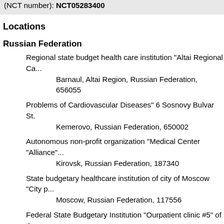(NCT number): NCT05283400
Locations
Russian Federation
Regional state budget health care institution "Altai Regional Ca...
Barnaul, Altai Region, Russian Federation, 656055
Problems of Cardiovascular Diseases" 6 Sosnovy Bulvar St.
Kemerovo, Russian Federation, 650002
Autonomous non-profit organization "Medical Center "Alliance"...
Kirovsk, Russian Federation, 187340
State budgetary healthcare institution of city of Moscow "City p...
Moscow, Russian Federation, 117556
Federal State Budgetary Institution "Ourpatient clinic #5" of the...
Moscow, Russian Federation, 119121
St. Petersburg State Budgetary Healthcare Institution "The city...